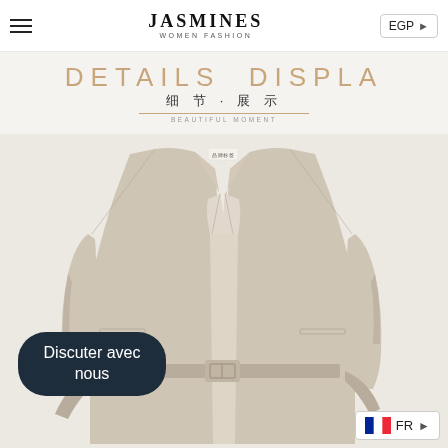JASMINES WOMEN FASHION | EGP
[Figure (photo): Details display banner with Chinese text: 细节·展示, BEAUTIFUL MOMENT, and decorative golden divider line on light grey background]
[Figure (photo): Beige/cream women's fashion blazer coat with lapel collar, tie belt at waist, displayed on white background with brand tag visible at collar]
Discuter avec nous
FR